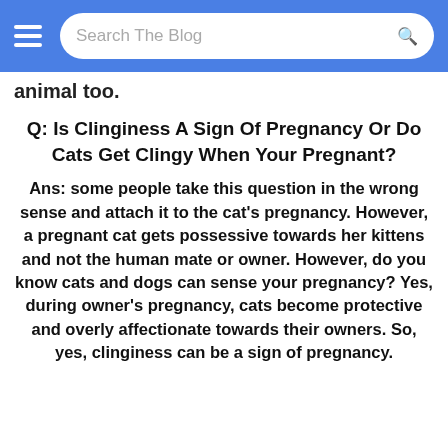Search The Blog
animal too.
Q: Is Clinginess A Sign Of Pregnancy Or Do Cats Get Clingy When Your Pregnant?
Ans: some people take this question in the wrong sense and attach it to the cat's pregnancy. However, a pregnant cat gets possessive towards her kittens and not the human mate or owner. However, do you know cats and dogs can sense your pregnancy? Yes, during owner's pregnancy, cats become protective and overly affectionate towards their owners. So, yes, clinginess can be a sign of pregnancy.